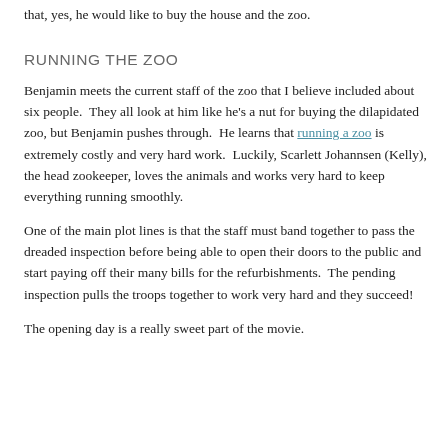that, yes, he would like to buy the house and the zoo.
RUNNING THE ZOO
Benjamin meets the current staff of the zoo that I believe included about six people.  They all look at him like he's a nut for buying the dilapidated zoo, but Benjamin pushes through.  He learns that running a zoo is extremely costly and very hard work.  Luckily, Scarlett Johannsen (Kelly), the head zookeeper, loves the animals and works very hard to keep everything running smoothly.
One of the main plot lines is that the staff must band together to pass the dreaded inspection before being able to open their doors to the public and start paying off their many bills for the refurbishments.  The pending inspection pulls the troops together to work very hard and they succeed!
The opening day is a really sweet part of the movie.